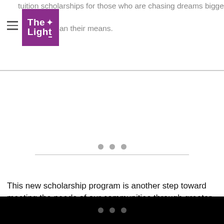tuition scholarships for those who are chasing dreams bigger than their means. [The Light logo]
[Figure (other): Advertisement or content placeholder area with three dots and a horizontal divider line]
This new scholarship program is another step toward meeting the needs of our communities through greater involvement in